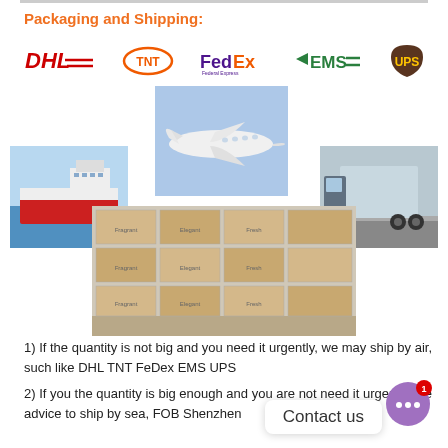Packaging and Shipping:
[Figure (logo): Row of shipping carrier logos: DHL, TNT, FedEx, EMS, UPS]
[Figure (photo): Collage of shipping transport images: cargo ship, airplane, truck, stacked boxes]
1) If the quantity is not big and you need it urgently, we may ship by air, such like DHL TNT FeDex EMS UPS
2) If you the quantity is big enough and you are not need it urgently, we advice to ship by sea, FOB Shenzhen